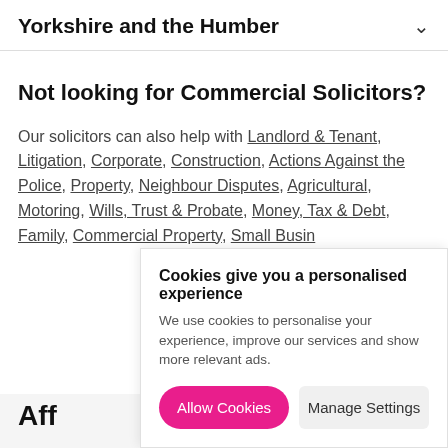Yorkshire and the Humber
Not looking for Commercial Solicitors?
Our solicitors can also help with Landlord & Tenant, Litigation, Corporate, Construction, Actions Against the Police, Property, Neighbour Disputes, Agricultural, Motoring, Wills, Trust & Probate, Money, Tax & Debt, Family, Commercial Property, Small Busin...
Cookies give you a personalised experience
We use cookies to personalise your experience, improve our services and show more relevant ads.
[Allow Cookies] [Manage Settings]